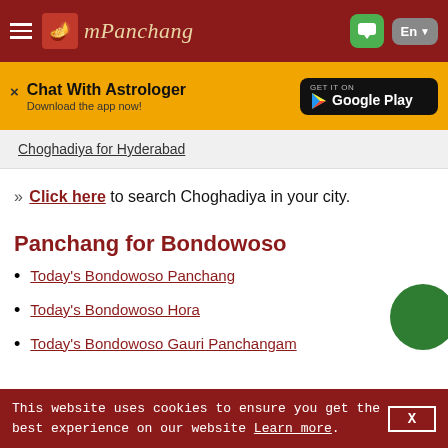mPanchang
[Figure (screenshot): mPanchang website header with logo, hamburger menu, chat bubble, and language selector (En)]
[Figure (infographic): Ad banner: Chat With Astrologer - Download the app now! with Google Play button]
Choghadiya for Hyderabad
» Click here to search Choghadiya in your city.
Panchang for Bondowoso
Today's Bondowoso Panchang
Today's Bondowoso Hora
Today's Bondowoso Gauri Panchangam
This website uses cookies to ensure you get the best experience on our website Learn more.